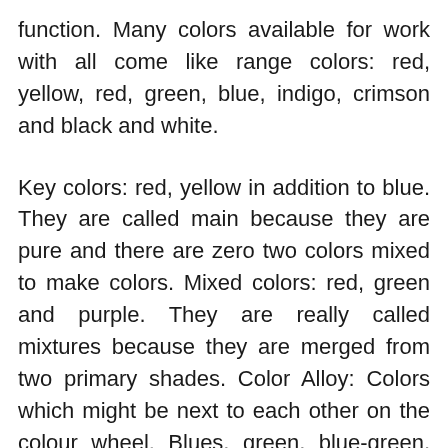function. Many colors available for work with all come like range colors: red, yellow, red, green, blue, indigo, crimson and black and white.
Key colors: red, yellow in addition to blue. They are called main because they are pure and there are zero two colors mixed to make colors. Mixed colors: red, green and purple. They are really called mixtures because they are merged from two primary shades. Color Alloy: Colors which might be next to each other on the colour wheel. Blues, green, blue-green, and aqua are all placed side by side and work well together in any room to create a comfy harmonious atmosphere. Bright Coloring: Color, which is on the opposing side of the color steering wheel. Bright red-green or blue-orange with each other but will complement each other and will create an intense in